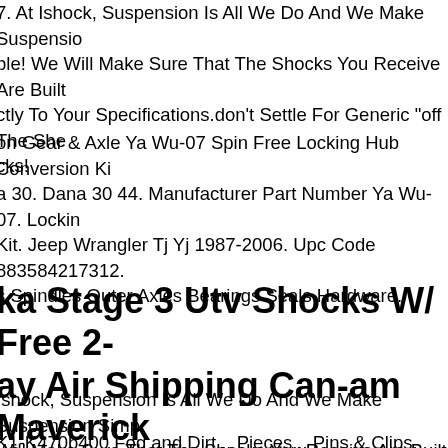7. At Ishock, Suspension Is All We Do And We Make Suspension Simple! We Will Make Sure That The Shocks You Receive Are Built Exactly To Your Specifications.don't Settle For Generic "off The Shelf" Shocks!
on Gear & Axle Ya Wu-07 Spin Free Locking Hub Conversion Kit Dana 30. Dana 30 44. Manufacturer Part Number Ya Wu-07. Locking Kit. Jeep Wrangler Tj Yj 1987-2006. Upc Code 883584217312. s Spindles Outer Axles Bearings Seals Hardware.
ka Stage 3 Utv Shocks W/ Free 2- ay Air Shipping Can-am Maverick 014 - 2017
Ishock, Suspension Is All We Do And We Make Suspension Simple! We Will Make Sure That The Shocks You Receive Are Built Exactly To Your Specifications.don't Settle For Generic "off The Shelf" Shocks!
K1-K470b400 Fog and Dirt... Pieces... Pins & Clips, Clips...